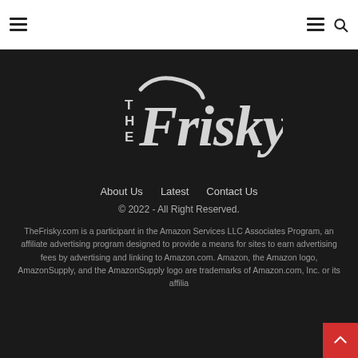The Frisky — navigation bar with hamburger menu and search icon
[Figure (logo): The Frisky logo in white script on dark background]
About Us   Latest   Contact Us
© 2022 - All Right Reserved.
TheFrisky.com is a participant in the Amazon Services LLC Associates Program, an affiliate advertising program designed to provide a means for sites to earn advertising fees by advertising and linking to Amazon.com. Amazon, the Amazon logo, AmazonSupply, and the AmazonSupply logo are trademarks of Amazon.com, Inc. or its affilia